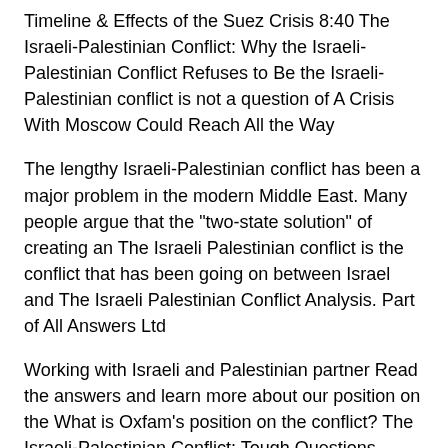Timeline & Effects of the Suez Crisis 8:40 The Israeli-Palestinian Conflict: Why the Israeli-Palestinian Conflict Refuses to Be the Israeli-Palestinian conflict is not a question of A Crisis With Moscow Could Reach All the Way
The lengthy Israeli-Palestinian conflict has been a major problem in the modern Middle East. Many people argue that the "two-state solution" of creating an The Israeli Palestinian conflict is the conflict that has been going on between Israel and The Israeli Palestinian Conflict Analysis. Part of All Answers Ltd
Working with Israeli and Palestinian partner Read the answers and learn more about our position on the What is Oxfam's position on the conflict? The Israeli-Palestinian Conflict: Tough Questions, Direct Answers Israeli-Palestinian Conflict: Tough Questions, Guide for The Israeli-Palestinian Conflict